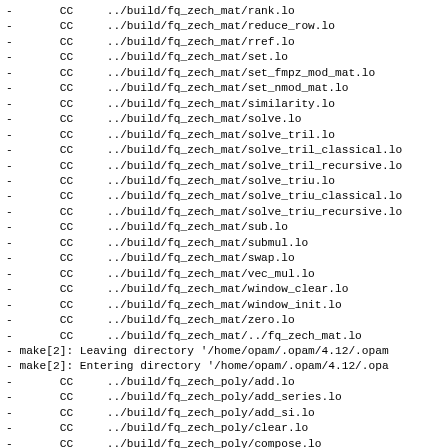-       CC     ../build/fq_zech_mat/rank.lo
-       CC     ../build/fq_zech_mat/reduce_row.lo
-       CC     ../build/fq_zech_mat/rref.lo
-       CC     ../build/fq_zech_mat/set.lo
-       CC     ../build/fq_zech_mat/set_fmpz_mod_mat.lo
-       CC     ../build/fq_zech_mat/set_nmod_mat.lo
-       CC     ../build/fq_zech_mat/similarity.lo
-       CC     ../build/fq_zech_mat/solve.lo
-       CC     ../build/fq_zech_mat/solve_tril.lo
-       CC     ../build/fq_zech_mat/solve_tril_classical.lo
-       CC     ../build/fq_zech_mat/solve_tril_recursive.lo
-       CC     ../build/fq_zech_mat/solve_triu.lo
-       CC     ../build/fq_zech_mat/solve_triu_classical.lo
-       CC     ../build/fq_zech_mat/solve_triu_recursive.lo
-       CC     ../build/fq_zech_mat/sub.lo
-       CC     ../build/fq_zech_mat/submul.lo
-       CC     ../build/fq_zech_mat/swap.lo
-       CC     ../build/fq_zech_mat/vec_mul.lo
-       CC     ../build/fq_zech_mat/window_clear.lo
-       CC     ../build/fq_zech_mat/window_init.lo
-       CC     ../build/fq_zech_mat/zero.lo
-       CC     ../build/fq_zech_mat/../fq_zech_mat.lo
- make[2]: Leaving directory '/home/opam/.opam/4.12/.opam
- make[2]: Entering directory '/home/opam/.opam/4.12/.opa
-       CC     ../build/fq_zech_poly/add.lo
-       CC     ../build/fq_zech_poly/add_series.lo
-       CC     ../build/fq_zech_poly/add_si.lo
-       CC     ../build/fq_zech_poly/clear.lo
-       CC     ../build/fq_zech_poly/compose.lo
-       CC     ../build/fq_zech_poly/compose_divconquer.lo
-       CC     ../build/fq_zech_poly/...